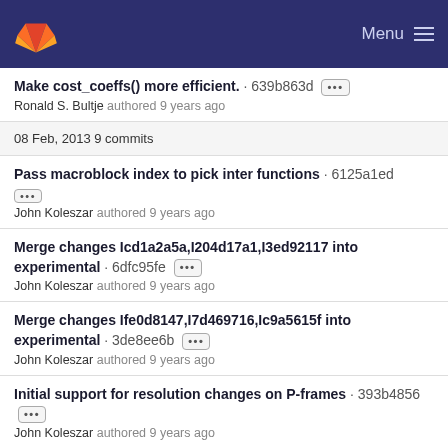GitLab — Menu
Make cost_coeffs() more efficient. · 639b863d
Ronald S. Bultje authored 9 years ago
08 Feb, 2013 9 commits
Pass macroblock index to pick inter functions · 6125a1ed
John Koleszar authored 9 years ago
Merge changes Icd1a2a5a,I204d17a1,I3ed92117 into experimental · 6dfc95fe
John Koleszar authored 9 years ago
Merge changes Ife0d8147,I7d469716,Ic9a5615f into experimental · 3de8ee6b
John Koleszar authored 9 years ago
Initial support for resolution changes on P-frames · 393b4856
John Koleszar authored 9 years ago